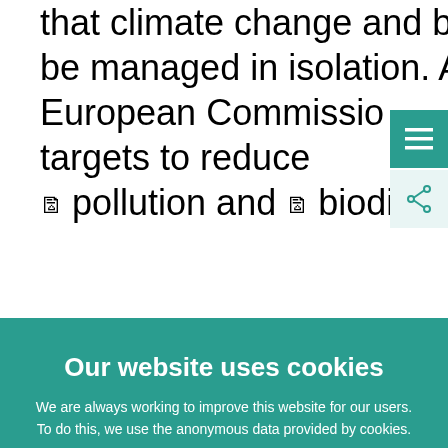that climate change and biodiversity loss cannot be managed in isolation. At European level, the European Commission has set ambitious targets to reduce pollution and biodiversity loss. Banks'
Our website uses cookies
We are always working to improve this website for our users. To do this, we use the anonymous data provided by cookies.
Learn more about how we use cookies
I understand and I accept the use of cookies
I do not accept the use of cookies